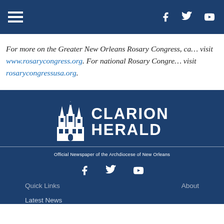Navigation bar with hamburger menu and social icons (Facebook, Twitter, YouTube)
For more on the Greater New Orleans Rosary Congress, ca… visit www.rosarycongress.org. For national Rosary Congre… visit rosarycongressusa.org.
[Figure (logo): Clarion Herald logo with church illustration and text 'Official Newspaper of the Archdiocese of New Orleans']
Social media icons: Facebook, Twitter, YouTube
Quick Links
Latest News
About